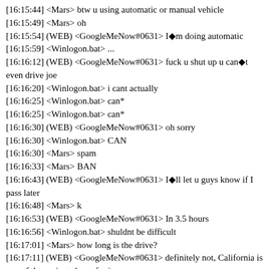[16:15:44] <Mars> btw u using automatic or manual vehicle
[16:15:49] <Mars> oh
[16:15:54] (WEB) <GoogleMeNow#0631> I●m doing automatic
[16:15:59] <Winlogon.bat> ...
[16:16:12] (WEB) <GoogleMeNow#0631> fuck u shut up u can●t even drive joe
[16:16:20] <Winlogon.bat> i cant actually
[16:16:25] <Winlogon.bat> can*
[16:16:25] <Winlogon.bat> can*
[16:16:30] (WEB) <GoogleMeNow#0631> oh sorry
[16:16:30] <Winlogon.bat> CAN
[16:16:30] <Mars> spam
[16:16:33] <Mars> BAN
[16:16:43] (WEB) <GoogleMeNow#0631> I●ll let u guys know if I pass later
[16:16:48] <Mars> k
[16:16:53] (WEB) <GoogleMeNow#0631> In 3.5 hours
[16:16:56] <Winlogon.bat> shuldnt be difficult
[16:17:01] <Mars> how long is the drive?
[16:17:11] (WEB) <GoogleMeNow#0631> definitely not, California is one of the easiest places for it
[16:17:18] (WEB) <GoogleMeNow#0631> Because we don●t have to parallel park or do 3 point turns
[16:17:26] (WEB) <GoogleMeNow#0631> It●s like 10-15 mins Mars